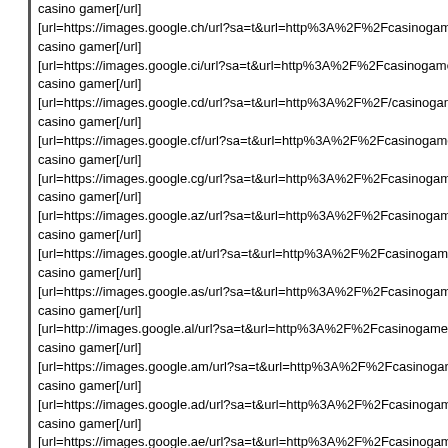casino gamer[/url]
[url=https://images.google.ch/url?sa=t&url=http%3A%2F%2Fcasinogam casino gamer[/url]
[url=https://images.google.ci/url?sa=t&url=http%3A%2F%2Fcasinogame casino gamer[/url]
[url=https://images.google.cd/url?sa=t&url=http%3A%2F%2F/casinogam casino gamer[/url]
[url=https://images.google.cf/url?sa=t&url=http%3A%2F%2Fcasinogame casino gamer[/url]
[url=https://images.google.cg/url?sa=t&url=http%3A%2F%2Fcasinogam casino gamer[/url]
[url=https://images.google.az/url?sa=t&url=http%3A%2F%2Fcasinogam casino gamer[/url]
[url=https://images.google.at/url?sa=t&url=http%3A%2F%2Fcasinogame casino gamer[/url]
[url=https://images.google.as/url?sa=t&url=http%3A%2F%2Fcasinogam casino gamer[/url]
[url=http://images.google.al/url?sa=t&url=http%3A%2F%2Fcasinogamer casino gamer[/url]
[url=https://images.google.am/url?sa=t&url=http%3A%2F%2Fcasinogan casino gamer[/url]
[url=https://images.google.ad/url?sa=t&url=http%3A%2F%2Fcasinogam casino gamer[/url]
[url=https://images.google.ae/url?sa=t&url=http%3A%2F%2Fcasinogam casino gamer[/url]
[url=https://images.google.ac/url?sa=t&url=http%3A%2F%2Fcasinogam casino gamer[/url]
[url=https://images.google.nr/url?sa=t&url=http%3A%2F%2Fcasinogame casino gamer[/url]